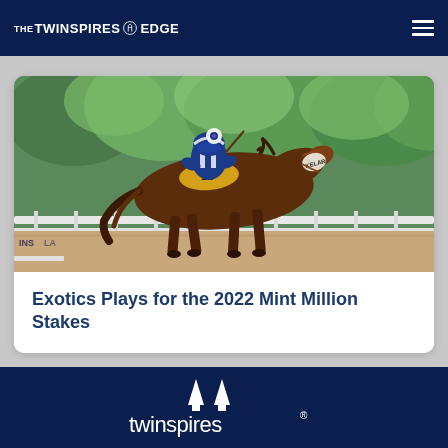THE TWINSPIRES EDGE
[Figure (photo): Horse racing photo showing a brown racehorse with a jockey in blue and white silks running on a track. Text 'KELAR' visible on the horse's blinker. White rail fence and green trees in background.]
Exotics Plays for the 2022 Mint Million Stakes
[Figure (logo): TwinSpires logo in white on dark navy background — two spire shapes above the word 'twinspires' with a registered trademark symbol]